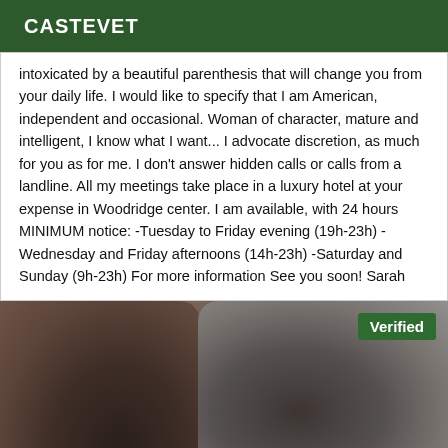CASTEVET
intoxicated by a beautiful parenthesis that will change you from your daily life. I would like to specify that I am American, independent and occasional. Woman of character, mature and intelligent, I know what I want... I advocate discretion, as much for you as for me. I don't answer hidden calls or calls from a landline. All my meetings take place in a luxury hotel at your expense in Woodridge center. I am available, with 24 hours MINIMUM notice: -Tuesday to Friday evening (19h-23h) -Wednesday and Friday afternoons (14h-23h) -Saturday and Sunday (9h-23h) For more information See you soon! Sarah
[Figure (photo): Photo showing dark leather clothing items, partially visible, with a green 'Verified' badge in the top right corner]